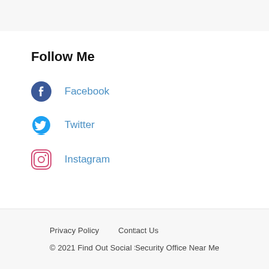Follow Me
Facebook
Twitter
Instagram
Privacy Policy   Contact Us
© 2021 Find Out Social Security Office Near Me